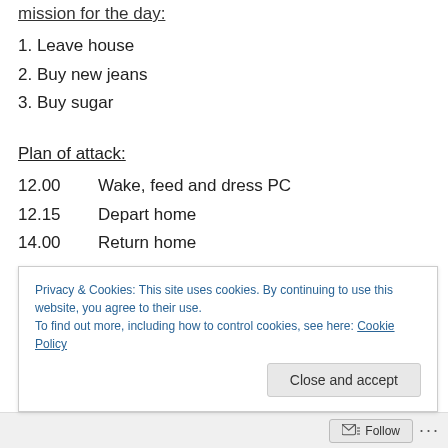mission for the day:
1. Leave house
2. Buy new jeans
3. Buy sugar
Plan of attack:
12.00    Wake, feed and dress PC
12.15    Depart home
14.00    Return home
What happened in reality:
11.30    Baby starts stirring in bed. Mommy gets herself
Privacy & Cookies: This site uses cookies. By continuing to use this website, you agree to their use. To find out more, including how to control cookies, see here: Cookie Policy
Follow ...